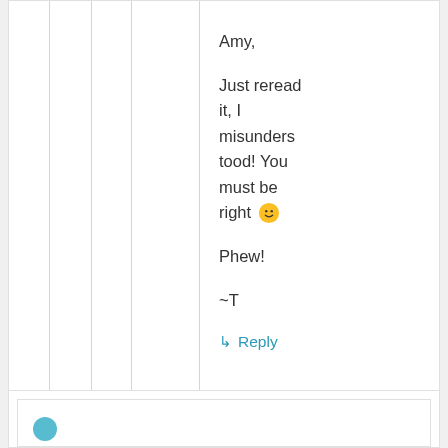Amy,

Just reread it, I misunderstood! You must be right 🙂

Phew!

~T
↳ Reply